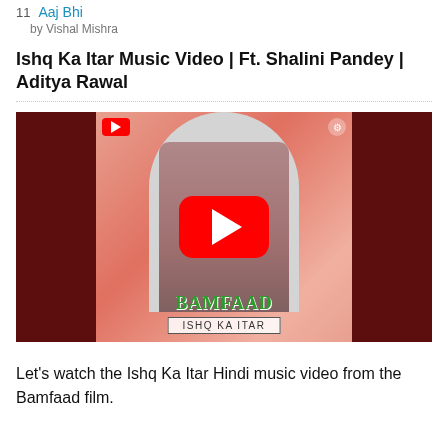11  Aaj Bhi
by Vishal Mishra
Ishq Ka Itar Music Video | Ft. Shalini Pandey | Aditya Rawal
[Figure (screenshot): YouTube video thumbnail for 'Ishq Ka Itar' music video from Bamfaad film, showing a couple standing in an arched doorway against a salmon/pink background, with dark maroon side panels, BAMFAAD text at bottom center, 'ISHQ KA ITAR' in a box below, and a red YouTube play button overlaid in the center.]
Let's watch the Ishq Ka Itar Hindi music video from the Bamfaad film.